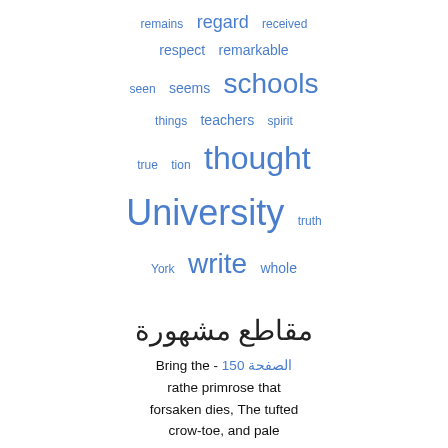[Figure (infographic): Word cloud with terms: remains, regard, received, respect, remarkable, seen, seems, schools, things, teachers, spirit, true, tion, thought, University, truth, York, write, whole — all in blue, varying font sizes indicating frequency]
مقاطع مشهورة
Bring the - الصفحة 150
rathe primrose that forsaken dies, The tufted crow-toe, and pale jessamine, The white pink, and the pansy freaked with jet, The glowing violet, The musk-rose, and the well-attired woodbine, With